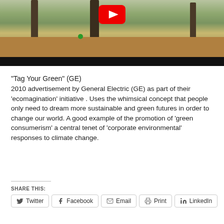[Figure (screenshot): Video thumbnail showing a park scene with trees and autumn leaves on the ground. A person is visible in the background. A red YouTube play button is overlaid at the top center. A small green dot is visible. The bottom has a black bar.]
“Tag Your Green” (GE)
2010 advertisement by General Electric (GE) as part of their ‘ecomagination’ initiative . Uses the whimsical concept that people only need to dream more sustainable and green futures in order to change our world. A good example of the promotion of ‘green consumerism’ a central tenet of ‘corporate environmental’ responses to climate change.
SHARE THIS:
Twitter
Facebook
Email
Print
LinkedIn